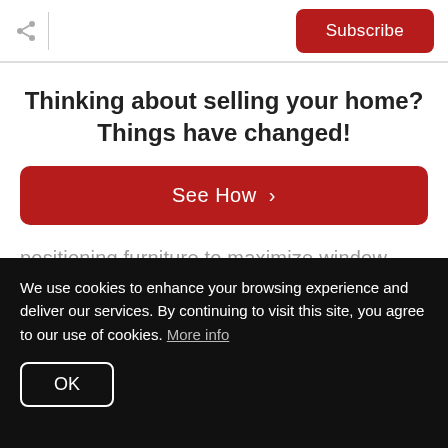Share | Subscribe
Thinking about selling your home? Things have changed!
See How ›
positioning furniture to maximize window views. Place lamps in dark corners and consider adding ceiling fixtures if rooms lack them
We use cookies to enhance your browsing experience and deliver our services. By continuing to visit this site, you agree to our use of cookies. More info
OK